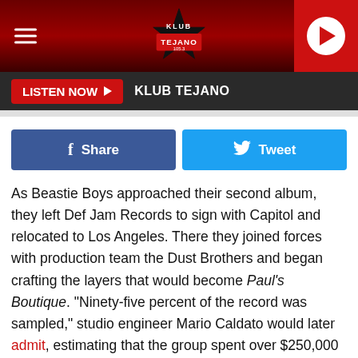KLUB TEJANO
LISTEN NOW  KLUB TEJANO
[Figure (other): Facebook Share button and Twitter Tweet button]
As Beastie Boys approached their second album, they left Def Jam Records to sign with Capitol and relocated to Los Angeles. There they joined forces with production team the Dust Brothers and began crafting the layers that would become Paul's Boutique. "Ninety-five percent of the record was sampled," studio engineer Mario Caldato would later admit, estimating that the group spent over $250,000 on licensing costs.

When Beastie Boys released Paul's Boutique in 1989, it changed the world of hip-hop. Though not initially a